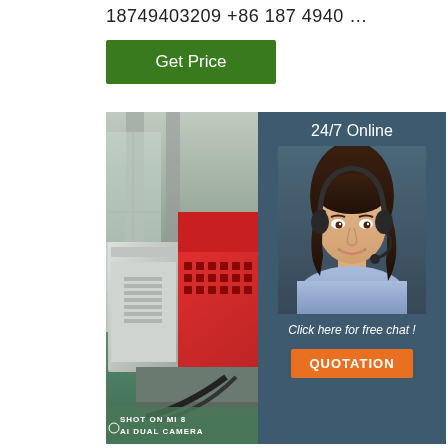18749403209 +86 187 4940 …
Get Price
[Figure (photo): Industrial CNC lathe machine in a factory setting. The machine has a red and grey body with a control panel on the right side. Shot on MI 8 AI Dual Camera watermark at bottom left.]
[Figure (infographic): 24/7 Online support panel with a female customer service agent wearing a headset and smiling. Below her photo: 'Click here for free chat!' and an orange QUOTATION button.]